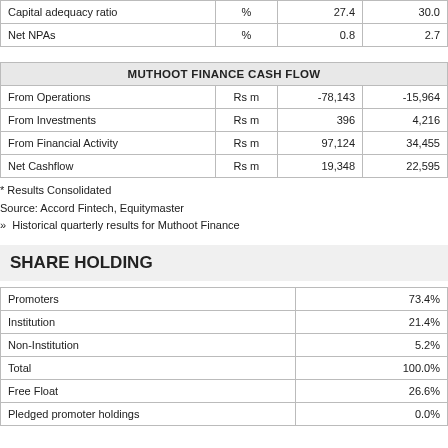|  |  |  |  |
| --- | --- | --- | --- |
| Capital adequacy ratio | % | 27.4 | 30.0 |
| Net NPAs | % | 0.8 | 2.7 |
| MUTHOOT FINANCE CASH FLOW |  |  |  |
| --- | --- | --- | --- |
| From Operations | Rs m | -78,143 | -15,964 |
| From Investments | Rs m | 396 | 4,216 |
| From Financial Activity | Rs m | 97,124 | 34,455 |
| Net Cashflow | Rs m | 19,348 | 22,595 |
* Results Consolidated
Source: Accord Fintech, Equitymaster
Historical quarterly results for Muthoot Finance
SHARE HOLDING
|  |  |
| --- | --- |
| Promoters | 73.4% |
| Institution | 21.4% |
| Non-Institution | 5.2% |
| Total | 100.0% |
| Free Float | 26.6% |
| Pledged promoter holdings | 0.0% |